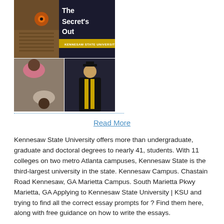[Figure (illustration): Kennesaw State University promotional image collage: top section shows an owl with white bold text 'The Secret's Out' and a gold banner reading 'KENNESAW STATE UNIVERSITY'; bottom left shows two smiling students lying on a stone surface; bottom right shows a male graduate in cap and gown with a gold stole.]
Read More
Kennesaw State University offers more than undergraduate, graduate and doctoral degrees to nearly 41, students. With 11 colleges on two metro Atlanta campuses, Kennesaw State is the third-largest university in the state. Kennesaw Campus. Chastain Road Kennesaw, GA Marietta Campus. South Marietta Pkwy Marietta, GA Applying to Kennesaw State University | KSU and trying to find all the correct essay prompts for ? Find them here, along with free guidance on how to write the essays.